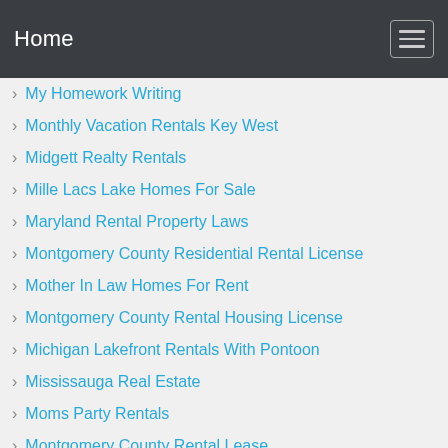Home
My Homework Writing
Monthly Vacation Rentals Key West
Midgett Realty Rentals
Mille Lacs Lake Homes For Sale
Maryland Rental Property Laws
Montgomery County Residential Rental License
Mother In Law Homes For Rent
Montgomery County Rental Housing License
Michigan Lakefront Rentals With Pontoon
Mississauga Real Estate
Moms Party Rentals
Montgomery County Rental Lease